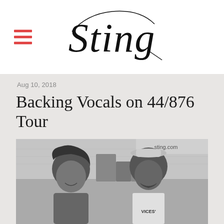Sting (logo)
Aug 10, 2018
Backing Vocals on 44/876 Tour
[Figure (photo): Black and white photo of two backing vocalists — a woman with curly hair on the left smiling, and a man wearing a straw hat on the right, both in front of a concert stage backdrop with sting.com banner visible]